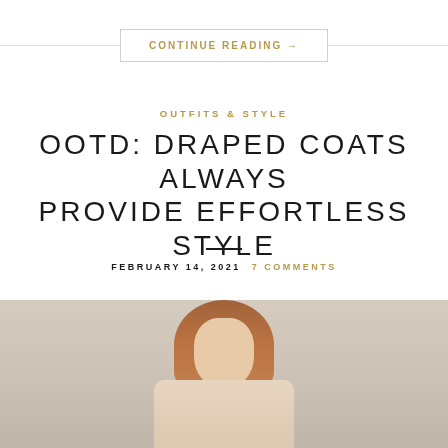CONTINUE READING →
OUTFITS & STYLE
OOTD: DRAPED COATS ALWAYS PROVIDE EFFORTLESS STYLE
FEBRUARY 14, 2021  7 COMMENTS
[Figure (photo): Woman with long auburn hair wearing a draped pale pink/cream garment, photographed from waist up against a beige wall]